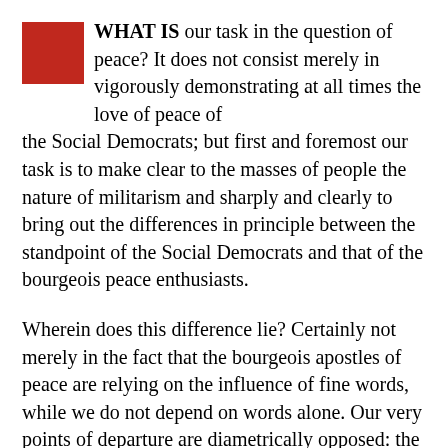WHAT IS our task in the question of peace? It does not consist merely in vigorously demonstrating at all times the love of peace of the Social Democrats; but first and foremost our task is to make clear to the masses of people the nature of militarism and sharply and clearly to bring out the differences in principle between the standpoint of the Social Democrats and that of the bourgeois peace enthusiasts.
Wherein does this difference lie? Certainly not merely in the fact that the bourgeois apostles of peace are relying on the influence of fine words, while we do not depend on words alone. Our very points of departure are diametrically opposed: the friends of peace in bourgeois circles believe that world peace and disarmament can be realized within the framework of the present social order, whereas we, who base ourselves on the materialistic conception of history, are scientifically convinced that...